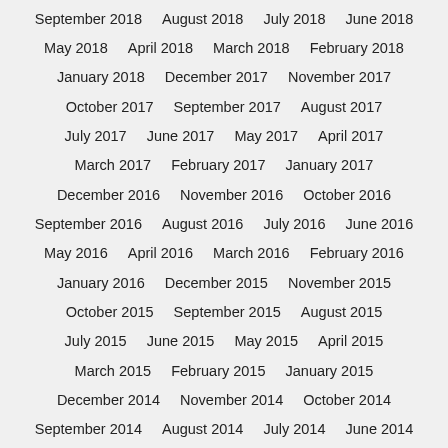September 2018   August 2018   July 2018   June 2018
May 2018   April 2018   March 2018   February 2018
January 2018   December 2017   November 2017
October 2017   September 2017   August 2017
July 2017   June 2017   May 2017   April 2017
March 2017   February 2017   January 2017
December 2016   November 2016   October 2016
September 2016   August 2016   July 2016   June 2016
May 2016   April 2016   March 2016   February 2016
January 2016   December 2015   November 2015
October 2015   September 2015   August 2015
July 2015   June 2015   May 2015   April 2015
March 2015   February 2015   January 2015
December 2014   November 2014   October 2014
September 2014   August 2014   July 2014   June 2014